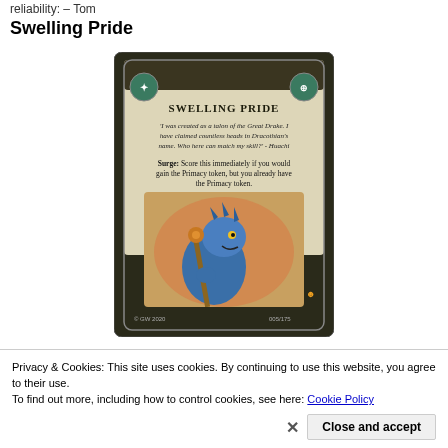reliability: – Tom
Swelling Pride
[Figure (illustration): A trading card titled 'Swelling Pride' featuring a blue lizard-like creature holding a staff, with decorative fantasy art borders and text reading: 'I was created as a talon of the Great Drake. I have claimed countless heads in Dracothian's name. Who here can match my skill?' - Huachi. Surge: Score this immediately if you would gain the Primacy token, but you already have the Primacy token. Card number 005/175, © GW 2020.]
Privacy & Cookies: This site uses cookies. By continuing to use this website, you agree to their use.
To find out more, including how to control cookies, see here: Cookie Policy
Close and accept